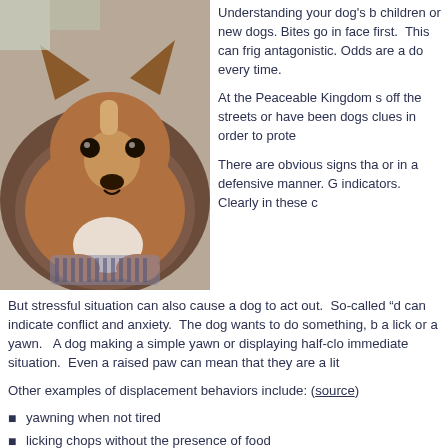[Figure (photo): A small Chihuahua dog resting in a brown dog bed, looking at the camera.]
Understanding your dog's b children or new dogs. Bites go in face first. This can frig antagonistic. Odds are a do every time.
At the Peaceable Kingdom s off the streets or have been dogs clues in order to prote
There are obvious signs tha or in a defensive manner. G indicators. Clearly in these c
But stressful situation can also cause a dog to act out. So-called "d can indicate conflict and anxiety. The dog wants to do something, b a lick or a yawn. A dog making a simple yawn or displaying half-clo immediate situation. Even a raised paw can mean that they are a lit
Other examples of displacement behaviors include: (source)
yawning when not tired
licking chops without the presence of food
sudden scratching when not itchy